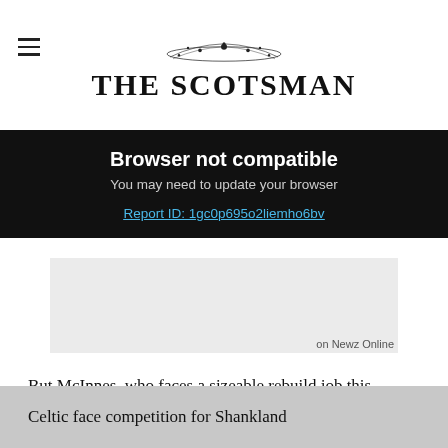THE SCOTSMAN
Browser not compatible
You may need to update your browser
Report ID: 1gc0p695o2liemho6bv
[Figure (other): Advertisement placeholder box with label 'on Newz Online']
But McInnes, who faces a sizeable rebuild job this summer, is monitoring the loanee’s situation and could make a move if he sees an opportunity. (Evening Telegraph)
Celtic face competition for Shankland